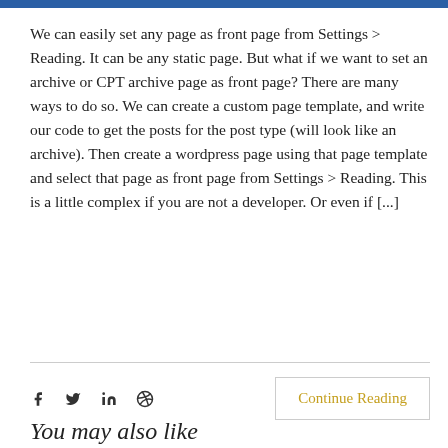We can easily set any page as front page from Settings > Reading. It can be any static page. But what if we want to set an archive or CPT archive page as front page? There are many ways to do so. We can create a custom page template, and write our code to get the posts for the post type (will look like an archive). Then create a wordpress page using that page template and select that page as front page from Settings > Reading. This is a little complex if you are not a developer. Or even if [...]
Continue Reading
You may also like